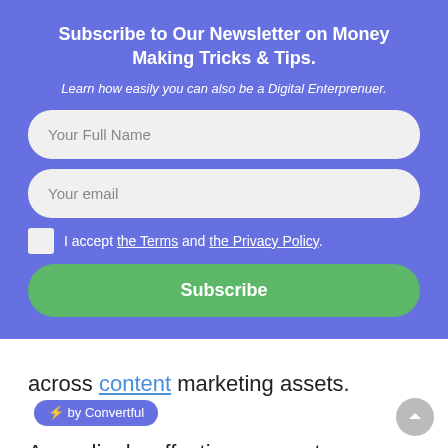Subscribe to Our Newsletter on Money Making Tricks & Tips.
Learn how easily you can also be a Digital Enterprenuer.
Your Full Name
Your email
I accept the Terms and the Privacy Policy.
Subscribe
across content marketing assets. ⚡ by Convertful
Accordingly, effective corporate branding enables companies to economically tell clear, consistent and unique stories about what they do and stand for. The resulting brand